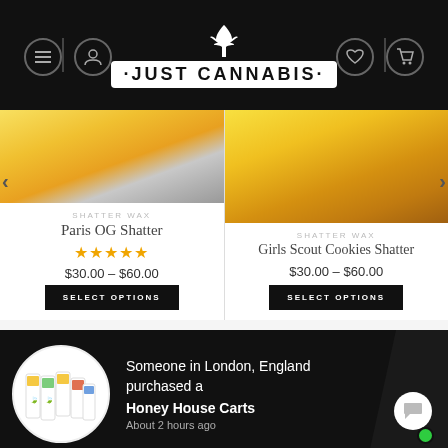[Figure (screenshot): Just Cannabis website header with logo, navigation icons for menu, user, heart/wishlist, and cart on black background]
[Figure (photo): Paris OG Shatter product image showing yellow/gold cannabis concentrate on a dabbing tool]
SHATTER WAX
Paris OG Shatter
★★★★★
$30.00 – $60.00
SELECT OPTIONS
[Figure (photo): Girls Scout Cookies Shatter product image showing golden amber cannabis concentrate]
SHATTER WAX
Girls Scout Cookies Shatter
$30.00 – $60.00
SELECT OPTIONS
[Figure (photo): Circular product image showing Honey House Carts packaging with multiple cartridges]
Someone in London, England purchased a
Honey House Carts
About 2 hours ago